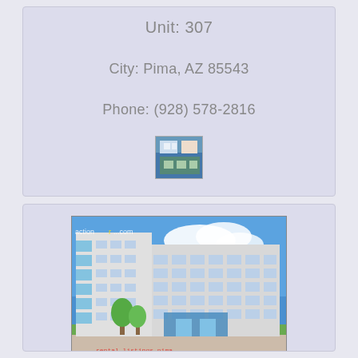Unit: 307
City: Pima, AZ 85543
Phone: (928) 578-2816
[Figure (photo): Small thumbnail image of apartment interior or pool area]
[Figure (photo): Exterior photo of a modern multi-story apartment building with balconies. Watermark text reads 'actionr...com' at top and 'rental listings pima' at bottom.]